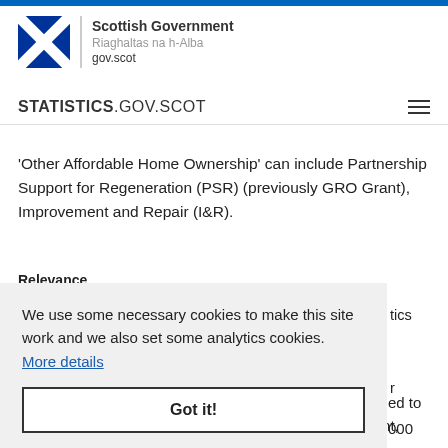[Figure (logo): Scottish Government logo with saltire flag, divider, and text: Scottish Government, Riaghaltas na h-Alba, gov.scot]
STATISTICS.GOV.SCOT
'Other Affordable Home Ownership' can include Partnership Support for Regeneration (PSR) (previously GRO Grant), Improvement and Repair (I&R).
Relevance
We use some necessary cookies to make this site work and we also set some analytics cookies. More details
Got it!
ed to
000
affordable homes, including 35,000 homes for social rent,